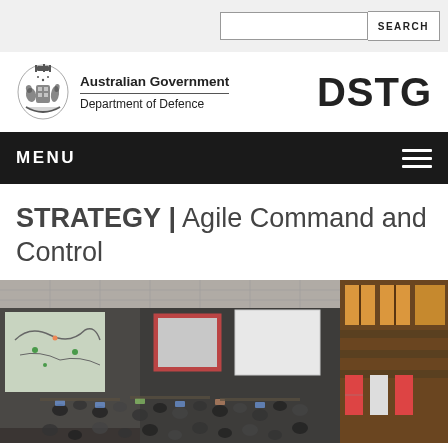SEARCH
[Figure (logo): Australian Government Department of Defence coat of arms logo with text 'Australian Government Department of Defence' and 'DSTG' on the right]
MENU
STRATEGY | Agile Command and Control
[Figure (photo): Aerial view of a military or government command and control room with large display screens showing maps, personnel seated at workstations, and national flags visible on the right side]